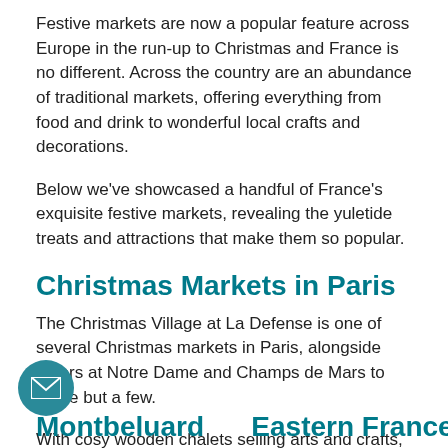Festive markets are now a popular feature across Europe in the run-up to Christmas and France is no different. Across the country are an abundance of traditional markets, offering everything from food and drink to wonderful local crafts and decorations.
Below we've showcased a handful of France's exquisite festive markets, revealing the yuletide treats and attractions that make them so popular.
Christmas Markets in Paris
The Christmas Village at La Defense is one of several Christmas markets in Paris, alongside others at Notre Dame and Champs de Mars to name but a few.
With cosy wooden chalets selling arts and crafts, alongside delicious food and plenty of mulled wine, you can easily forget that you're in the heart of the city.
Montbeluard — Eastern France